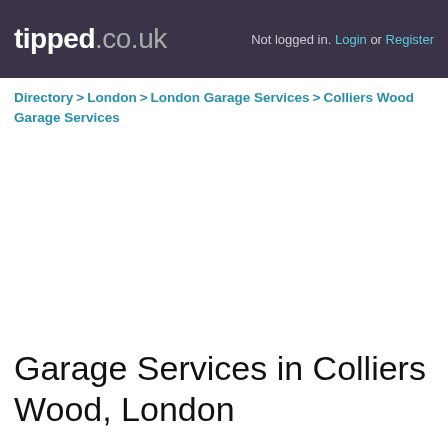tipped.co.uk — Not logged in. Login or Register
Directory > London > London Garage Services > Colliers Wood Garage Services
Garage Services in Colliers Wood, London